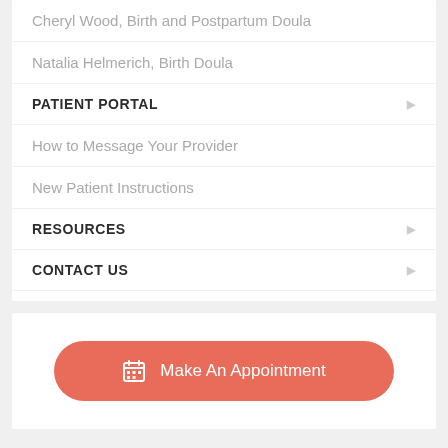Cheryl Wood, Birth and Postpartum Doula
Natalia Helmerich, Birth Doula
PATIENT PORTAL
How to Message Your Provider
New Patient Instructions
RESOURCES
CONTACT US
Make An Appointment
Search